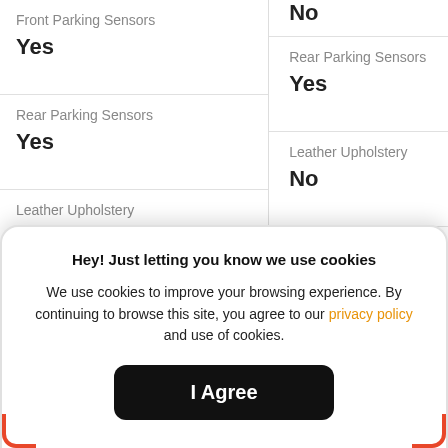Front Parking Sensors
Yes
No
Rear Parking Sensors
Yes
Rear Parking Sensors
Yes
Leather Upholstery
Yes
Leather Upholstery
No
Push Start Button
Hey! Just letting you know we use cookies
We use cookies to improve your browsing experience. By continuing to browse this site, you agree to our privacy policy and use of cookies.
I Agree